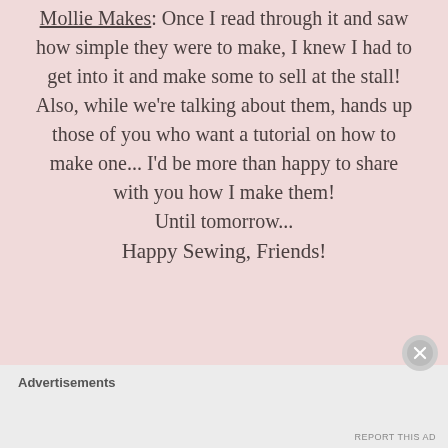Mollie Makes. Once I read through it and saw how simple they were to make, I knew I had to get into it and make some to sell at the stall! Also, while we're talking about them, hands up those of you who want a tutorial on how to make one... I'd be more than happy to share with you how I make them!
Until tomorrow...
Happy Sewing, Friends!
Advertisements